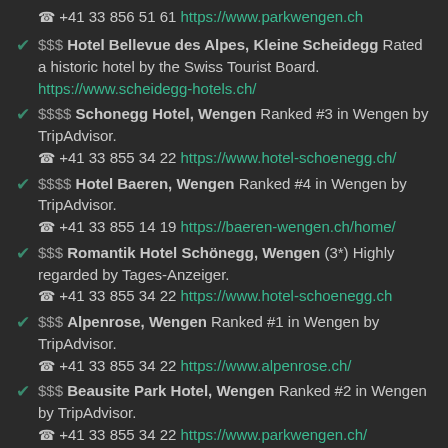+41 33 856 51 61 https://www.parkwengen.ch
$$$ Hotel Bellevue des Alpes, Kleine Scheidegg Rated a historic hotel by the Swiss Tourist Board. https://www.scheidegg-hotels.ch/
$$$$ Schonegg Hotel, Wengen Ranked #3 in Wengen by TripAdvisor. +41 33 855 34 22 https://www.hotel-schoenegg.ch/
$$$$ Hotel Baeren, Wengen Ranked #4 in Wengen by TripAdvisor. +41 33 855 14 19 https://baeren-wengen.ch/home/
$$$ Romantik Hotel Schönegg, Wengen (3*) Highly regarded by Tages-Anzeiger. +41 33 855 34 22 https://www.hotel-schoenegg.ch
$$$ Alpenrose, Wengen Ranked #1 in Wengen by TripAdvisor. +41 33 855 34 22 https://www.alpenrose.ch/
$$$ Beausite Park Hotel, Wengen Ranked #2 in Wengen by TripAdvisor. +41 33 855 34 22 https://www.parkwengen.ch/
$$$ Hotel Falken, Wengen Rated a historic hotel by the